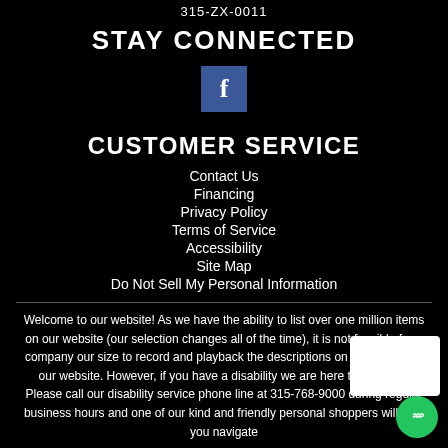315-ZX-0011
STAY CONNECTED
[Figure (logo): Facebook icon - blue square with white 'f' lettermark]
CUSTOMER SERVICE
Contact Us
Financing
Privacy Policy
Terms of Service
Accessibility
Site Map
Do Not Sell My Personal Information
Welcome to our website! As we have the ability to list over one million items on our website (our selection changes all of the time), it is not feasible for a company our size to record and playback the descriptions on every item on our website. However, if you have a disability we are here to help you. Please call our disability service phone line at 315-768-9000 during regular business hours and one of our kind and friendly personal shoppers will help you navigate